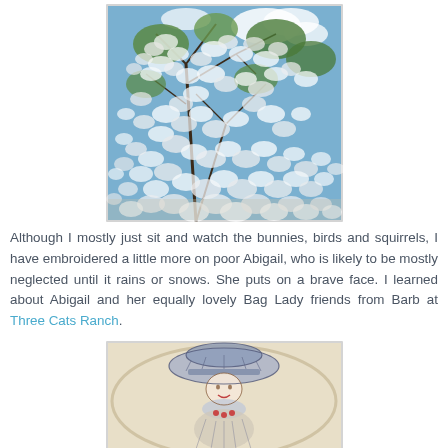[Figure (photo): Looking up through branches of a flowering tree with white blossoms against a blue sky with clouds and green foliage]
Although I mostly just sit and watch the bunnies, birds and squirrels, I have embroidered a little more on poor Abigail, who is likely to be mostly neglected until it rains or snows. She puts on a brave face. I learned about Abigail and her equally lovely Bag Lady friends from Barb at Three Cats Ranch.
[Figure (photo): A partial view of an embroidery hoop showing a stitched figure of a woman wearing a large decorated hat, drawn/embroidered on light fabric]